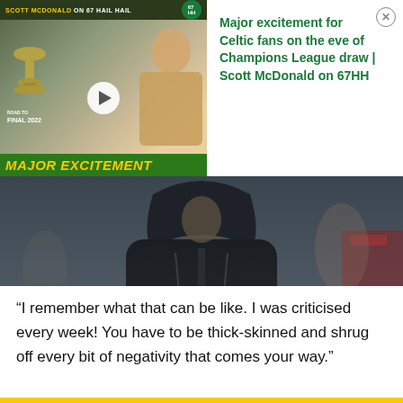[Figure (screenshot): Video thumbnail ad for '67HH' showing Scott McDonald, Champions League trophy, and text 'MAJOR EXCITEMENT'. Right side shows green text: 'Major excitement for Celtic fans on the eve of Champions League draw | Scott McDonald on 67HH']
[Figure (photo): Photo of a person (football manager) wearing a dark/black puffer jacket, standing on a football pitch sideline. Blurred background with red advertising boards visible.]
(photo by David Young/Action Plus via Getty Images)
“I remember what that can be like. I was criticised every week! You have to be thick-skinned and shrug off every bit of negativity that comes your way.”